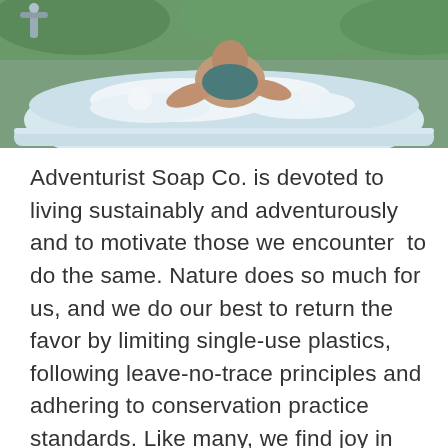[Figure (photo): A person sitting in an outdoor bathtub filled with foam/bubbles, photographed from above. Greenery visible in the background.]
Adventurist Soap Co. is devoted to living sustainably and adventurously and to motivate those we encounter  to do the same. Nature does so much for us, and we do our best to return the favor by limiting single-use plastics, following leave-no-trace principles and adhering to conservation practice standards. Like many, we find joy in having a clean space custom...